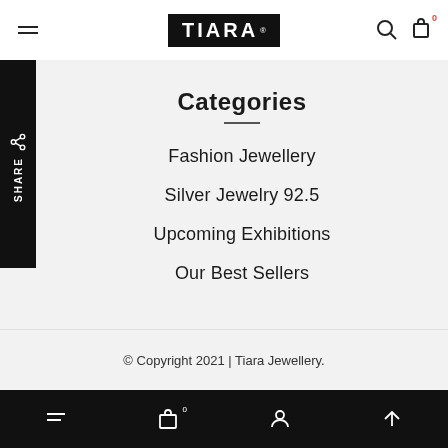TIARA (logo/navigation header)
Categories
Fashion Jewellery
Silver Jewelry 92.5
Upcoming Exhibitions
Our Best Sellers
© Copyright 2021 | Tiara Jewellery.